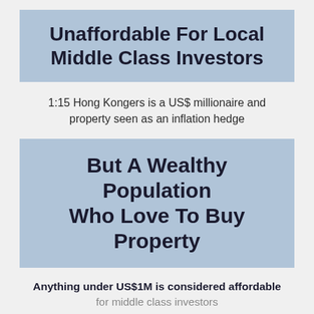Unaffordable For Local Middle Class Investors
1:15 Hong Kongers is a US$ millionaire and property seen as an inflation hedge
But A Wealthy Population Who Love To Buy Property
Anything under US$1M is considered affordable for middle class investors